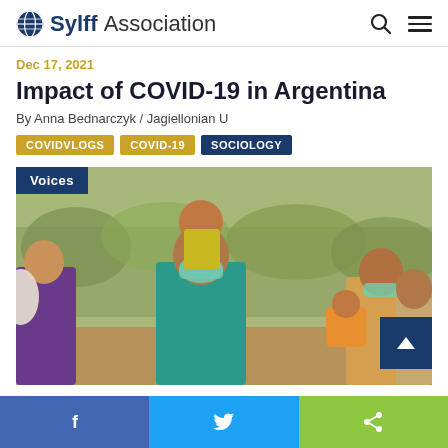Sylff Association
Dec 17, 2021
Impact of COVID-19 in Argentina
By Anna Bednarczyk / Jagiellonian U
COVIDVlogs  COVID-19  Sociology
[Figure (photo): People wearing face masks outdoors, one person carrying a child on their shoulders. A COVID-19 related image used as article header. Has a 'Voices' badge overlay in the top-left corner.]